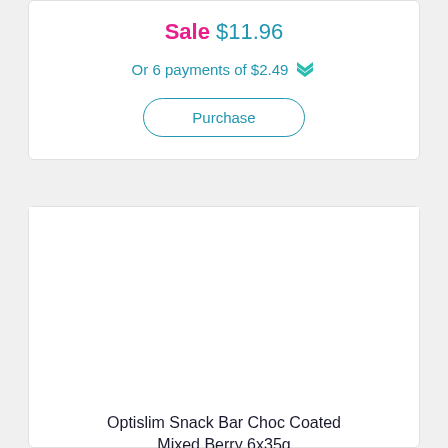Sale $11.96
Or 6 payments of $2.49
Purchase
[Figure (photo): Product image area (white/blank) for Optislim Snack Bar]
Optislim Snack Bar Choc Coated Mixed Berry 6x35g